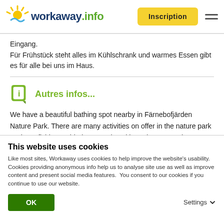workaway.info | Inscription
Eingang.
Für Frühstück steht alles im Kühlschrank und warmes Essen gibt es für alle bei uns im Haus.
Autres infos...
We have a beautiful bathing spot nearby in Färnebofjärden Nature Park. There are many activities on offer in the nature park such as: fishing, guided tours or kayaking. The nearest bus stop is
This website uses cookies
Like most sites, Workaway uses cookies to help improve the website's usability. Cookies providing anonymous info help us to analyse site use as well as improve content and present social media features.  You consent to our cookies if you continue to use our website.
OK | Settings